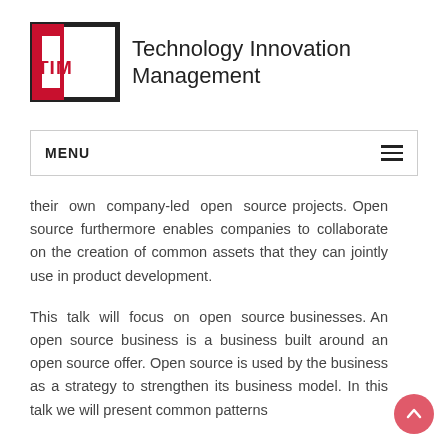[Figure (logo): Technology Innovation Management (TIM) logo with red and black bracket design and TIM text in red]
MENU
their own company-led open source projects. Open source furthermore enables companies to collaborate on the creation of common assets that they can jointly use in product development.
This talk will focus on open source businesses. An open source business is a business built around an open source offer. Open source is used by the business as a strategy to strengthen its business model. In this talk we will present common patterns